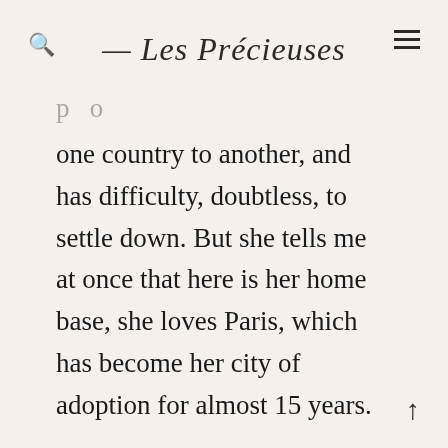— Les Précieuses
one country to another, and has difficulty, doubtless, to settle down. But she tells me at once that here is her home base, she loves Paris, which has become her city of adoption for almost 15 years.